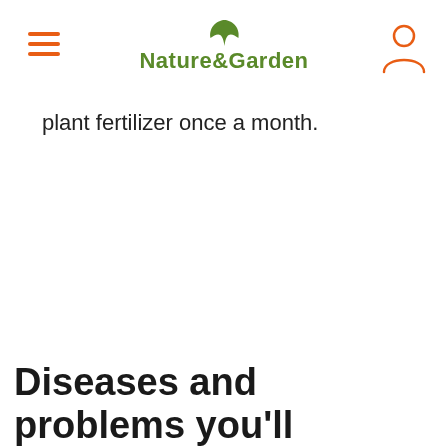Nature & Garden
plant fertilizer once a month.
Diseases and problems you'll